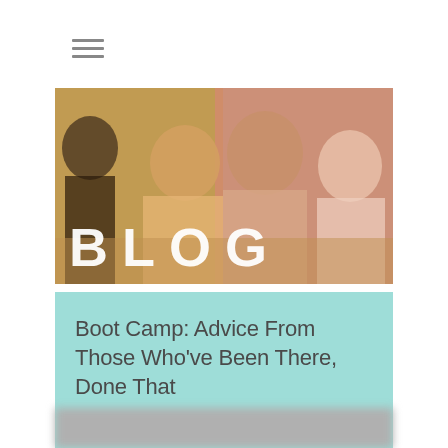≡ (hamburger menu icon)
[Figure (photo): Students collaborating at a table, hero image with golden-left to pink-right color overlay and large bold 'BLOG' text overlaid at the bottom left]
Boot Camp: Advice From Those Who've Been There, Done That
[Figure (photo): Bottom strip of another image, blurred, partially visible]